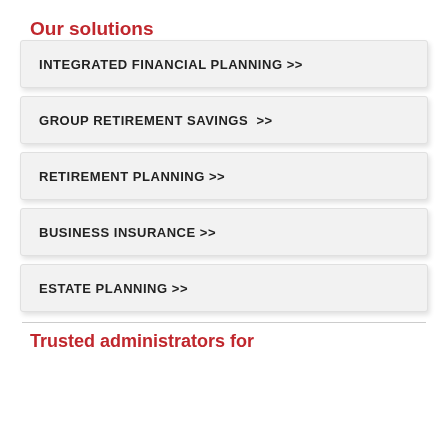Our solutions
INTEGRATED FINANCIAL PLANNING >>
GROUP RETIREMENT SAVINGS >>
RETIREMENT PLANNING >>
BUSINESS INSURANCE >>
ESTATE PLANNING >>
Trusted administrators for